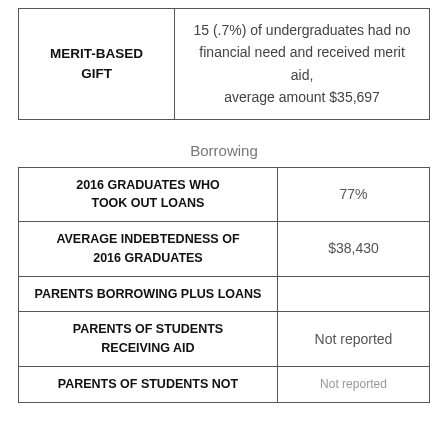|  |  |
| --- | --- |
| MERIT-BASED GIFT | 15 (.7%) of undergraduates had no financial need and received merit aid, average amount $35,697 |
Borrowing
|  |  |
| --- | --- |
| 2016 GRADUATES WHO TOOK OUT LOANS | 77% |
| AVERAGE INDEBTEDNESS OF 2016 GRADUATES | $38,430 |
| PARENTS BORROWING PLUS LOANS |  |
| PARENTS OF STUDENTS RECEIVING AID | Not reported |
| PARENTS OF STUDENTS NOT | Not reported |